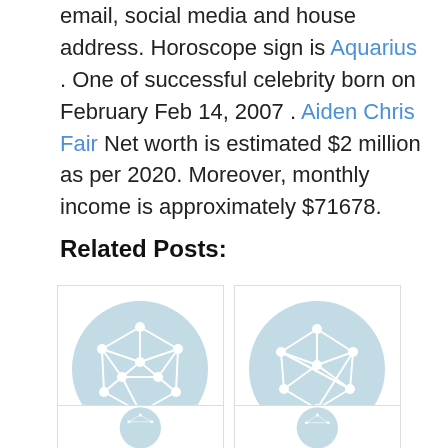email, social media and house address. Horoscope sign is Aquarius . One of successful celebrity born on February Feb 14, 2007 . Aiden Chris Fair Net worth is estimated $2 million as per 2020. Moreover, monthly income is approximately $71678.
Related Posts:
[Figure (illustration): Placeholder circle icon with network graph symbol for Ethan Caggiano]
Ethan Caggiano
[Figure (illustration): Placeholder circle icon with network graph symbol for Breanne Barry]
Breanne Barry
[Figure (illustration): Placeholder circle icon with network graph symbol (partial, bottom row left)]
[Figure (illustration): Placeholder circle icon with network graph symbol (partial, bottom row right)]